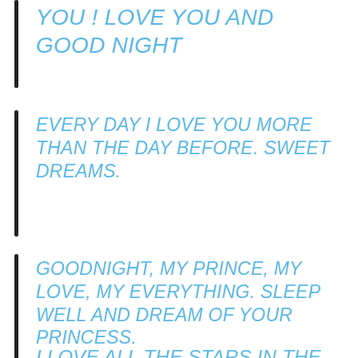YOU ! LOVE YOU AND GOOD NIGHT
EVERY DAY I LOVE YOU MORE THAN THE DAY BEFORE. SWEET DREAMS.
GOODNIGHT, MY PRINCE, MY LOVE, MY EVERYTHING. SLEEP WELL AND DREAM OF YOUR PRINCESS.
I LOVE ALL THE STARS IN THE